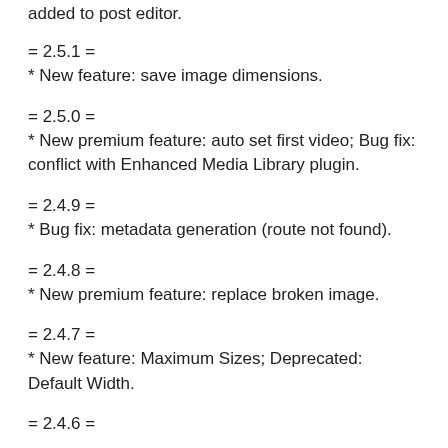added to post editor.
= 2.5.1 =
* New feature: save image dimensions.
= 2.5.0 =
* New premium feature: auto set first video; Bug fix: conflict with Enhanced Media Library plugin.
= 2.4.9 =
* Bug fix: metadata generation (route not found).
= 2.4.8 =
* New premium feature: replace broken image.
= 2.4.7 =
* New feature: Maximum Sizes; Deprecated: Default Width.
= 2.4.6 =